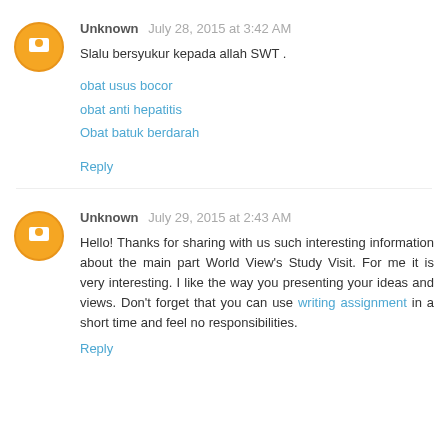Unknown  July 28, 2015 at 3:42 AM
Slalu bersyukur kepada allah SWT .

obat usus bocor
obat anti hepatitis
Obat batuk berdarah

Reply
Unknown  July 29, 2015 at 2:43 AM
Hello! Thanks for sharing with us such interesting information about the main part World View's Study Visit. For me it is very interesting. I like the way you presenting your ideas and views. Don't forget that you can use writing assignment in a short time and feel no responsibilities.

Reply